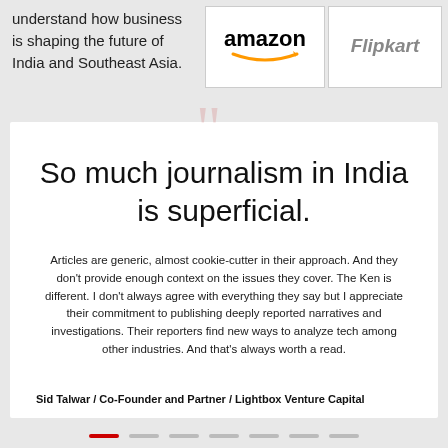understand how business is shaping the future of India and Southeast Asia.
[Figure (logo): Amazon logo in white box]
[Figure (logo): Flipkart logo in white box]
So much journalism in India is superficial.
Articles are generic, almost cookie-cutter in their approach. And they don't provide enough context on the issues they cover. The Ken is different. I don't always agree with everything they say but I appreciate their commitment to publishing deeply reported narratives and investigations. Their reporters find new ways to analyze tech among other industries. And that's always worth a read.
Sid Talwar / Co-Founder and Partner / Lightbox Venture Capital